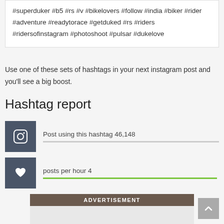#superduker #b5 #rs #v #bikelovers #follow #india #biker #rider #adventure #readytorace #getduked #rs #riders #ridersofinstagram #photoshoot #pulsar #dukelove
Use one of these sets of hashtags in your next instagram post and you'll see a big boost.
Hashtag report
Post using this hashtag 46,148
posts per hour 4
ADVERTISEMENT